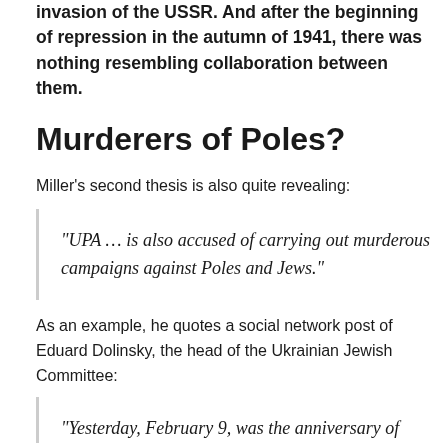invasion of the USSR. And after the beginning of repression in the autumn of 1941, there was nothing resembling collaboration between them.
Murderers of Poles?
Miller’s second thesis is also quite revealing:
“UPA … is also accused of carrying out murderous campaigns against Poles and Jews.”
As an example, he quotes a social network post of Eduard Dolinsky, the head of the Ukrainian Jewish Committee:
“Yesterday, February 9, was the anniversary of